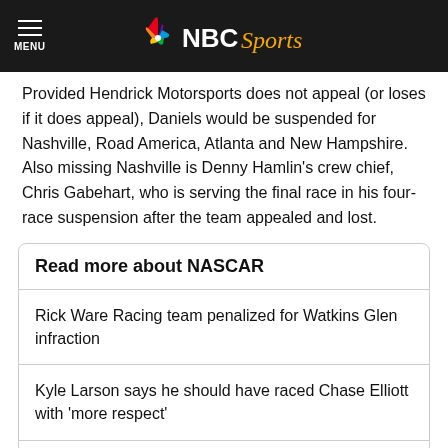NBC Sports
Provided Hendrick Motorsports does not appeal (or loses if it does appeal), Daniels would be suspended for Nashville, Road America, Atlanta and New Hampshire. Also missing Nashville is Denny Hamlin's crew chief, Chris Gabehart, who is serving the final race in his four-race suspension after the team appealed and lost.
Read more about NASCAR
Rick Ware Racing team penalized for Watkins Glen infraction
Kyle Larson says he should have raced Chase Elliott with 'more respect'
NASCAR Power Rankings: Chase Elliott, Kyle…